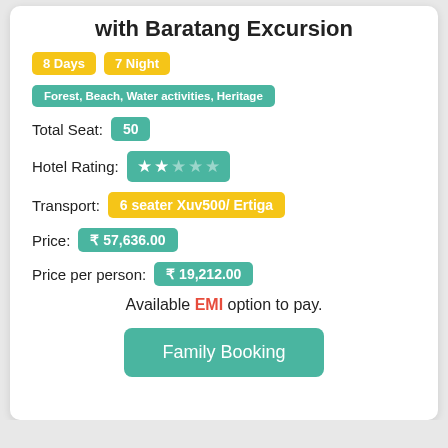with Baratang Excursion
8 Days  7 Night
Forest, Beach, Water activities, Heritage
Total Seat: 50
Hotel Rating: ★★☆☆☆
Transport: 6 seater Xuv500/ Ertiga
Price: ₹ 57,636.00
Price per person: ₹ 19,212.00
Available EMI option to pay.
Family Booking